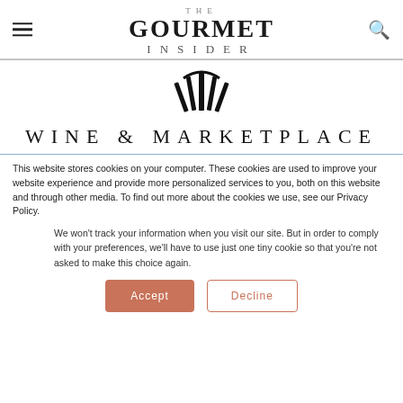THE GOURMET INSIDER
[Figure (logo): Wine & Marketplace decorative logo mark — stylized fan/crown shape in black]
WINE & MARKETPLACE
This website stores cookies on your computer. These cookies are used to improve your website experience and provide more personalized services to you, both on this website and through other media. To find out more about the cookies we use, see our Privacy Policy.
We won't track your information when you visit our site. But in order to comply with your preferences, we'll have to use just one tiny cookie so that you're not asked to make this choice again.
Accept | Decline